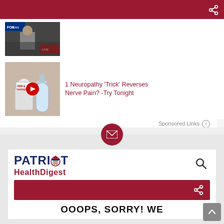[Figure (screenshot): Dark red top navigation bar with share icon]
[Figure (photo): Thumbnail showing a person in suit with Fox News logo overlay]
[Figure (photo): Thumbnail showing water bottle and baking soda with YouTube play button - ad for neuropathy trick]
1 Neuropathy ‘Trick’ Reverses Nerve Pain? -Try Tonight
Sponsored Links
[Figure (screenshot): Patriot Health Digest newsletter signup card with email icon, logo, search icon, red share bar, and OOOPS, SORRY! WE text]